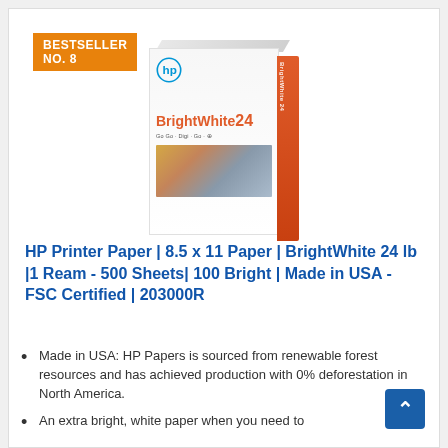BESTSELLER NO. 8
[Figure (photo): HP BrightWhite 24 printer paper box product image showing the front and spine of the box]
HP Printer Paper | 8.5 x 11 Paper | BrightWhite 24 lb |1 Ream - 500 Sheets| 100 Bright | Made in USA - FSC Certified | 203000R
Made in USA: HP Papers is sourced from renewable forest resources and has achieved production with 0% deforestation in North America.
An extra bright, white paper when you need to